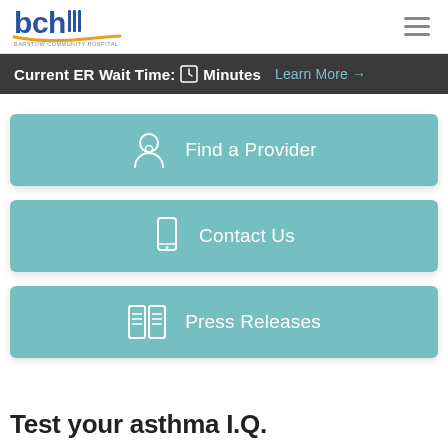[Figure (logo): BCH Barstow Community Hospital logo with blue and gold branding]
Current ER Wait Time: [clock icon] Minutes Learn More →
Find a Provider
Contact Us
Press Releases
Test your asthma I.Q.